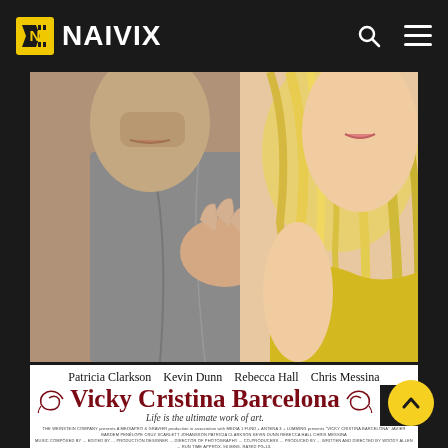NAIVIX
[Figure (photo): Movie poster for Vicky Cristina Barcelona showing a man and a blonde woman in an intimate embrace. The man is wearing a grey t-shirt and the woman is wearing a yellow top with flowing blonde hair.]
Patricia Clarkson   Kevin Dunn   Rebecca Hall   Chris Messina
Vicky Cristina Barcelona
Life is the ultimate work of art.
THE WEINSTEIN COMPANY presents A MEDIAPRO & GRAVIER production in association with MEDIA 1 FUND + ANTENA 3 + LUMMING presents "VICKY CRISTINA BARCELONA" JAVIER BARDEM PENÉLOPE CRUZ SCARLETT JOHANSSON PATRICIA CLARKSON KEVIN DUNN REBECCA HALL CHRIS MESSINA ...